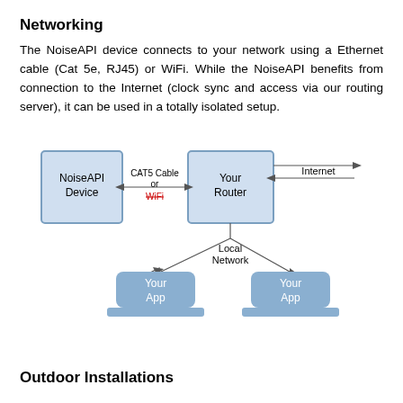Networking
The NoiseAPI device connects to your network using a Ethernet cable (Cat 5e, RJ45) or WiFi. While the NoiseAPI benefits from connection to the Internet (clock sync and access via our routing server), it can be used in a totally isolated setup.
[Figure (network-graph): Network diagram showing NoiseAPI Device connected to Your Router via CAT5 Cable or WiFi, with Internet connected to router via arrow, and two 'Your App' laptop-like devices connected to router via Local Network arrows.]
Outdoor Installations